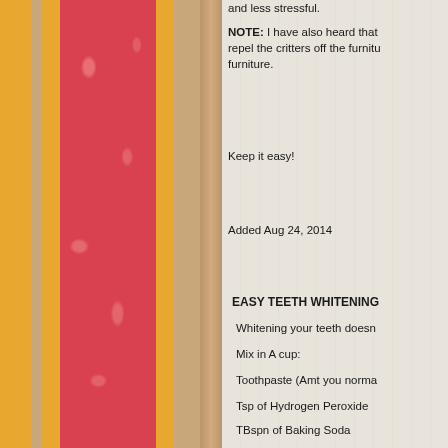[Figure (illustration): Decorative left panel with orange and red vertical stripes on a tan/beige background, with a textured marbled red center stripe and orange accent stripes on either side. A wooden spine separates the panel from the text area.]
and less stressful.
NOTE: I have also heard that repel the critters off the furniture. furniture.
Keep it easy!
Added Aug 24, 2014
EASY TEETH WHITENING
Whitening your teeth doesn
Mix in A cup:
Toothpaste (Amt you norma
Tsp of Hydrogen Peroxide
TBspn of Baking Soda